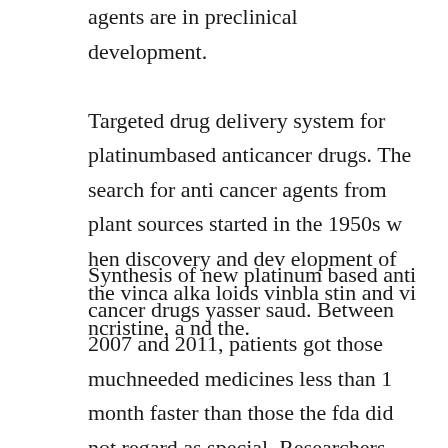agents are in preclinical development. Targeted drug delivery system for platinumbased anticancer drugs. The search for anti cancer agents from plant sources started in the 1950s w hen discovery and dev elopment of the vinca alka loids vinbla stin and vi ncristine, a nd the.
Synthesis of new platinum based anti cancer drugs yasser saud. Between 2007 and 2011, patients got those muchneeded medicines less than 1 month faster than those the fda did not regard as special. Researchers investigate the